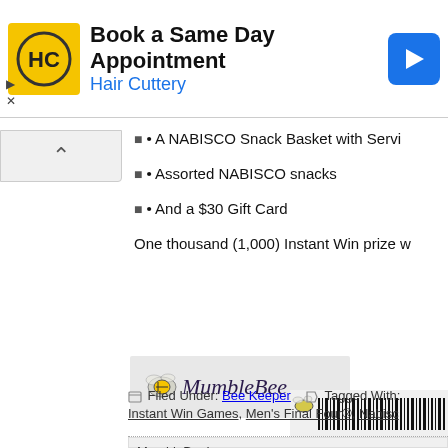[Figure (illustration): Hair Cuttery advertisement banner with yellow HC logo, text 'Book a Same Day Appointment Hair Cuttery', and blue navigation icon]
• A NABISCO Snack Basket with Servi
• Assorted NABISCO snacks
• And a $30 Gift Card
One thousand (1,000) Instant Win prize w
[Figure (logo): MumbleBee signature logo with bee illustration and handwritten-style text 'MumbleBee']
[Figure (illustration): Barcode image with bee icon]
Filed Under: Bee Keeper   Tagged With:
Instant Win Games, Men's Final Four®, Nabisc
MumbleBeeIn